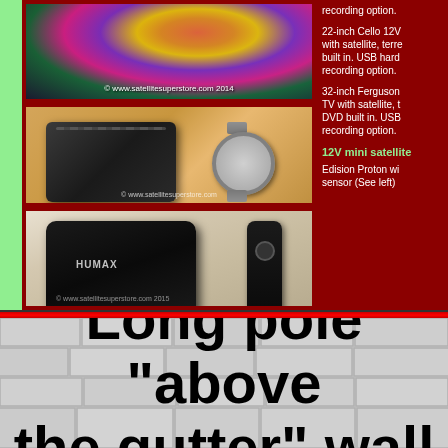[Figure (photo): TV set showing colorful display with copyright watermark www.satellitesuperstore.com 2014]
[Figure (photo): Satellite set-top box with watch next to it, copyright www.satellitesuperstore.com]
[Figure (photo): Humax satellite receiver with remote control, copyright www.satellitesuperstore.com 2015]
recording option.
22-inch Cello 12V with satellite, terre built in. USB hard recording option.
32-inch Ferguson TV with satellite, t DVD built in. USB recording option.
12V mini satellite
Edision Proton wi sensor (See left)
Long pole "above the gutter" wall